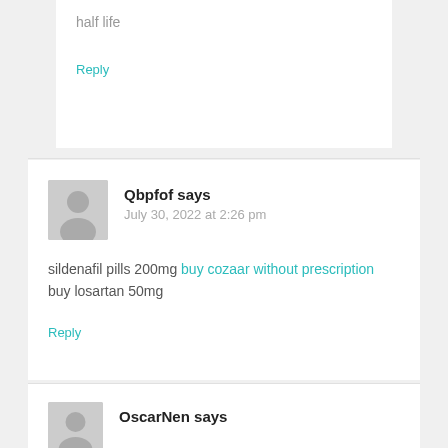half life
Reply
Qbpfof says
July 30, 2022 at 2:26 pm
sildenafil pills 200mg buy cozaar without prescription buy losartan 50mg
Reply
OscarNen says